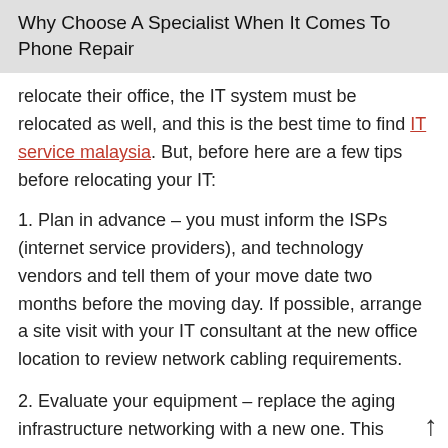Why Choose A Specialist When It Comes To Phone Repair
relocate their office, the IT system must be relocated as well, and this is the best time to find IT service malaysia. But, before here are a few tips before relocating your IT:
1. Plan in advance – you must inform the ISPs (internet service providers), and technology vendors and tell them of your move date two months before the moving day. If possible, arrange a site visit with your IT consultant at the new office location to review network cabling requirements.
2. Evaluate your equipment – replace the aging infrastructure networking with a new one. This process must be planned very well so that you can use the system on the first day of working in the new office.